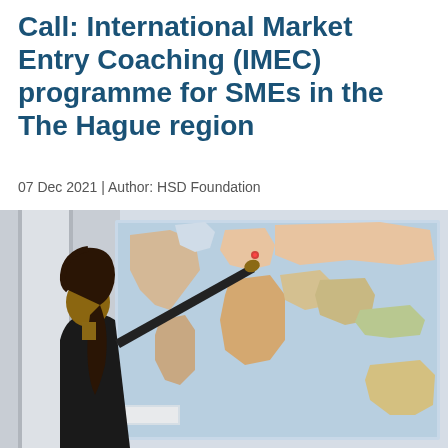Call: International Market Entry Coaching (IMEC) programme for SMEs in the The Hague region
07 Dec 2021 | Author: HSD Foundation
[Figure (photo): A person with curly hair in a ponytail, wearing a black top, pointing at a colorful world map mounted on a wall.]